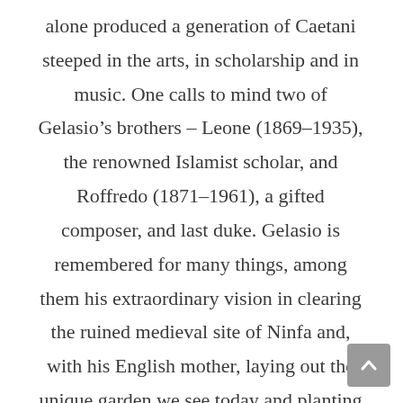alone produced a generation of Caetani steeped in the arts, in scholarship and in music. One calls to mind two of Gelasio's brothers – Leone (1869–1935), the renowned Islamist scholar, and Roffredo (1871–1961), a gifted composer, and last duke. Gelasio is remembered for many things, among them his extraordinary vision in clearing the ruined medieval site of Ninfa and, with his English mother, laying out the unique garden we see today and planting the first cypresses and roses. Within three decades Ninfa was to capture the imagination of musicians, artists, poets and gardeners from all the world.